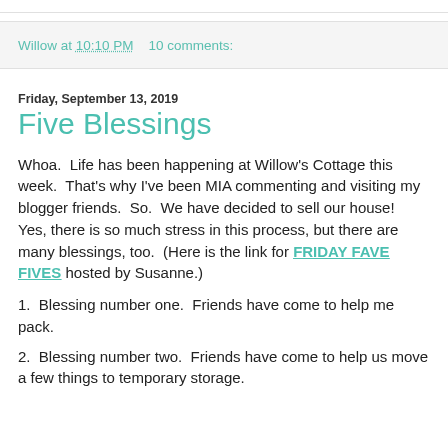Willow at 10:10 PM   10 comments:
Friday, September 13, 2019
Five Blessings
Whoa.  Life has been happening at Willow's Cottage this week.  That's why I've been MIA commenting and visiting my blogger friends.  So.  We have decided to sell our house!  Yes, there is so much stress in this process, but there are many blessings, too.  (Here is the link for FRIDAY FAVE FIVES hosted by Susanne.)
1.  Blessing number one.  Friends have come to help me pack.
2.  Blessing number two.  Friends have come to help us move a few things to temporary storage.